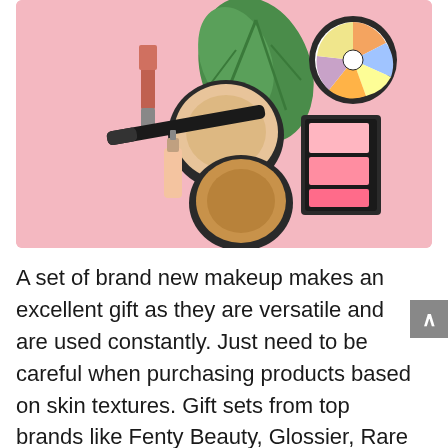[Figure (photo): A flat-lay photo of makeup products on a pink background, including compact powder, lipstick, mascara, nail polish, blush palette, and a color wheel eyeshadow palette, with a green monstera leaf.]
A set of brand new makeup makes an excellent gift as they are versatile and are used constantly. Just need to be careful when purchasing products based on skin textures. Gift sets from top brands like Fenty Beauty, Glossier, Rare Beauty,